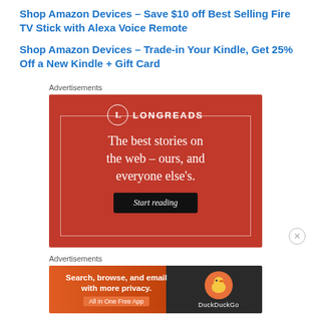Shop Amazon Devices – Save $10 off Best Selling Fire TV Stick with Alexa Voice Remote
Shop Amazon Devices – Trade-in Your Kindle, Get 25% Off a New Kindle + Gift Card
Advertisements
[Figure (screenshot): Longreads advertisement on red background: logo with L in circle, text 'The best stories on the web – ours, and everyone else's.' and Start reading button]
Advertisements
[Figure (screenshot): DuckDuckGo advertisement: Search, browse, and email with more privacy. All in One Free App, with duck logo]